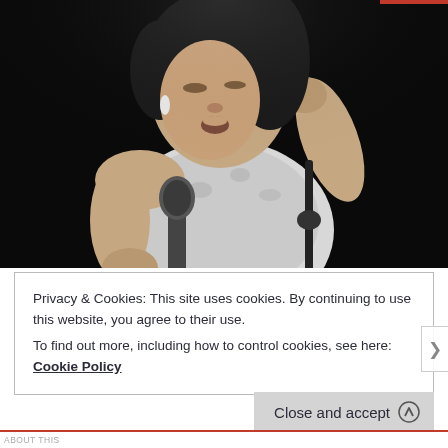[Figure (photo): Black and white photograph of a woman singing into a microphone on stage, wearing a white sleeveless top, leaning forward emotionally with one hand raised to her face]
Privacy & Cookies: This site uses cookies. By continuing to use this website, you agree to their use.
To find out more, including how to control cookies, see here: Cookie Policy
Close and accept